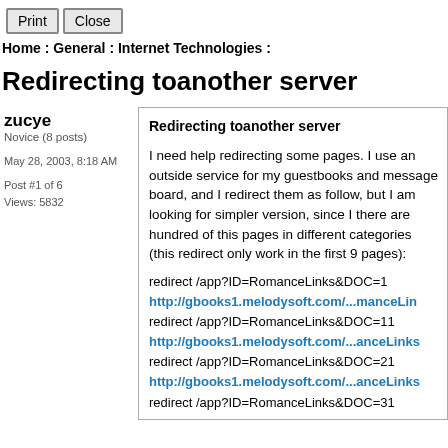Print  Close
Home : General : Internet Technologies :
Redirecting toanother server
zucye
Novice (8 posts)
May 28, 2003, 8:18 AM
Post #1 of 6
Views: 5832
Redirecting toanother server
I need help redirecting some pages. I use an outside service for my guestbooks and message board, and I redirect them as follow, but I am looking for simpler version, since I there are hundred of this pages in different categories (this redirect only work in the first 9 pages):
redirect /app?ID=RomanceLinks&DOC=1
http://gbooks1.melodysoft.com/...manceLin
redirect /app?ID=RomanceLinks&DOC=11
http://gbooks1.melodysoft.com/...anceLinks
redirect /app?ID=RomanceLinks&DOC=21
http://gbooks1.melodysoft.com/...anceLinks
redirect /app?ID=RomanceLinks&DOC=31